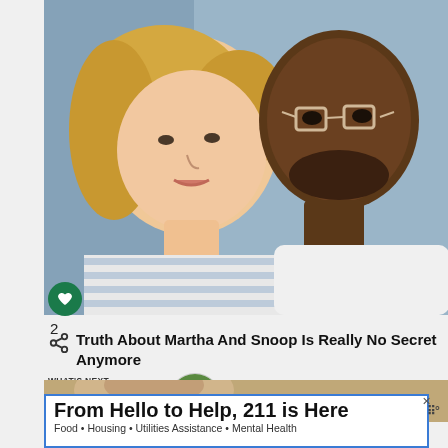[Figure (photo): Photo of two people posing together — a blonde woman in a blue and white striped shirt and a man with glasses in a white outfit]
2
Truth About Martha And Snoop Is Really No Secret Anymore
WHAT'S NEXT → 27+ Tasty No Bake Vegan...
[Figure (photo): Partial photo of a person, bottom portion visible]
From Hello to Help, 211 is Here
Food • Housing • Utilities Assistance • Mental Health